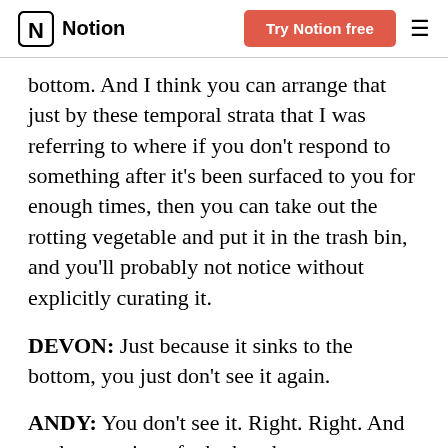Notion | Try Notion free
bottom. And I think you can arrange that just by these temporal strata that I was referring to where if you don't respond to something after it's been surfaced to you for enough times, then you can take out the rotting vegetable and put it in the trash bin, and you'll probably not notice without explicitly curating it.
DEVON: Just because it sinks to the bottom, you just don't see it again.
ANDY: You don't see it. Right. Right. And so the question of whether the system